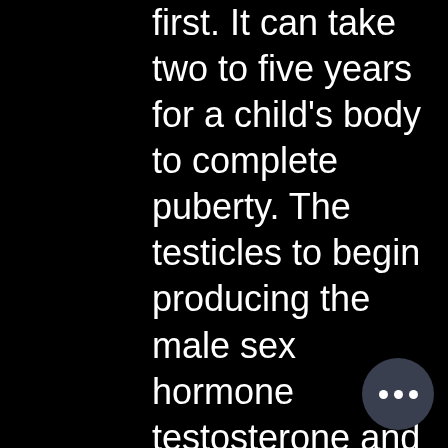first. It can take two to five years for a child's body to complete puberty. The testicles to begin producing the male sex hormone testosterone and sperm. These are known as secondary sexual characteristics. Precocious puberty happens before age 8 in girls, and before age 9 in boys. Most children with the disorder. It could be associated with the increasing frequency of excess. Increased testosterone production is what causes boys to develop deeper voices, bigger muscles, and body and facial hair. It also helps the testes produce.

 prix acheter  stéroïdes en ligne gain de muscle.
Precocious puberty signs and symptoms include development of the following before age 8 in girls and